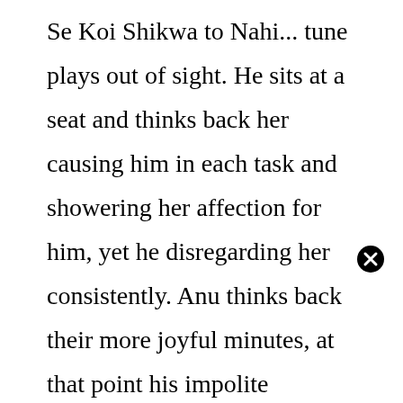Se Koi Shikwa to Nahi... tune plays out of sight. He sits at a seat and thinks back her causing him in each task and showering her affection for him, yet he disregarding her consistently. Anu thinks back their more joyful minutes, at that point his impolite conduct, his treachery, and so forth The two of them see